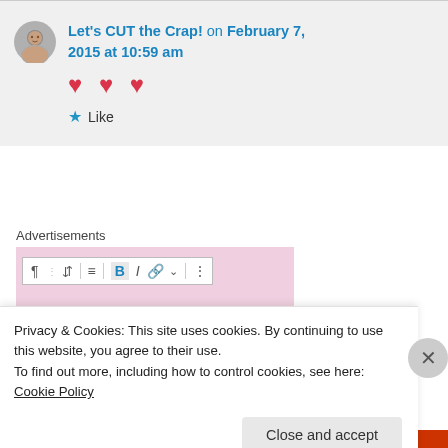Let's CUT the Crap! on February 7, 2015 at 10:59 am
❤ ❤ ❤
Like
Advertisements
Privacy & Cookies: This site uses cookies. By continuing to use this website, you agree to their use.
To find out more, including how to control cookies, see here: Cookie Policy
Close and accept